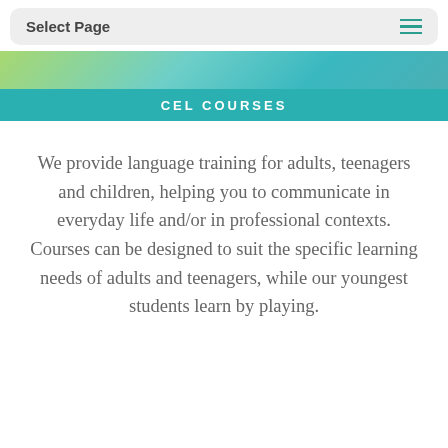Select Page
[Figure (photo): Photo strip of people outdoors, green and teal tones]
CEL COURSES
We provide language training for adults, teenagers and children, helping you to communicate in everyday life and/or in professional contexts. Courses can be designed to suit the specific learning needs of adults and teenagers, while our youngest students learn by playing.